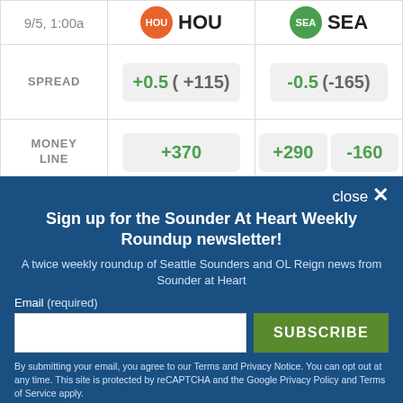|  | HOU | SEA |
| --- | --- | --- |
| 9/5, 1:00a | HOU | SEA |
| SPREAD | +0.5  (+115) | -0.5  (-165) |
| MONEY LINE | +370 | +290 / -160 |
close ×
Sign up for the Sounder At Heart Weekly Roundup newsletter!
A twice weekly roundup of Seattle Sounders and OL Reign news from Sounder at Heart
Email (required)
SUBSCRIBE
By submitting your email, you agree to our Terms and Privacy Notice. You can opt out at any time. This site is protected by reCAPTCHA and the Google Privacy Policy and Terms of Service apply.